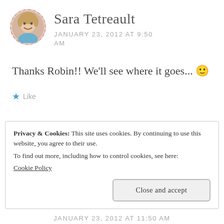[Figure (photo): Circular avatar photo of Sara Tetreault with dashed border]
Sara Tetreault
JANUARY 23, 2012 AT 9:50 AM
Thanks Robin!! We'll see where it goes... 🙂
★ Like
Privacy & Cookies: This site uses cookies. By continuing to use this website, you agree to their use.
To find out more, including how to control cookies, see here:
Cookie Policy
Close and accept
JANUARY 23, 2012 AT 11:50 AM